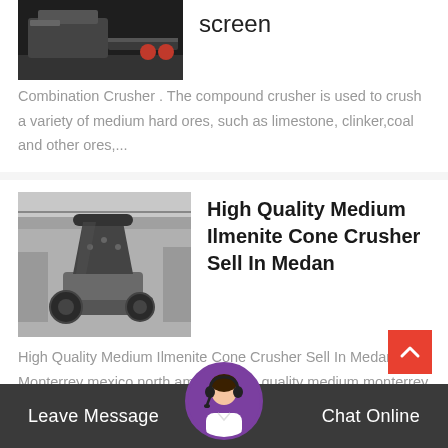[Figure (photo): Industrial crusher/conveyor equipment in a workshop setting, dark machinery with red cylinders visible]
screen
Combination Crusher . The compound crusher is used to crush a variety of medium hard ores, such as limestone, clinker,coal and other ores,...
[Figure (photo): Large cone crusher industrial machine inside a factory/warehouse building]
High Quality Medium Ilmenite Cone Crusher Sell In Medan
High Quality Medium Ilmenite Cone Crusher Sell In Medan. Monterrey mexico north america high quality medium monterrey mexico north...
Leave Message   Chat Online